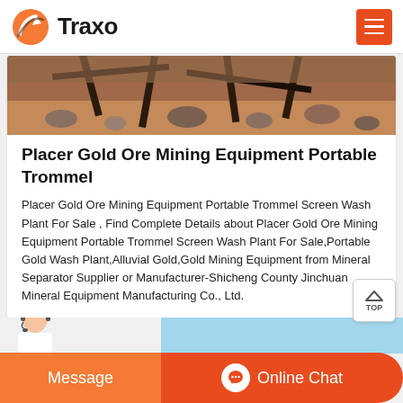Traxo
[Figure (photo): Mining equipment photo showing rocky terrain with metal frame structures, reddish dirt and stones]
Placer Gold Ore Mining Equipment Portable Trommel
Placer Gold Ore Mining Equipment Portable Trommel Screen Wash Plant For Sale , Find Complete Details about Placer Gold Ore Mining Equipment Portable Trommel Screen Wash Plant For Sale,Portable Gold Wash Plant,Alluvial Gold,Gold Mining Equipment from Mineral Separator Supplier or Manufacturer-Shicheng County Jinchuan Mineral Equipment Manufacturing Co., Ltd.
[Figure (infographic): Bottom chat bar with Message button and Online Chat button, with agent photo on left side]